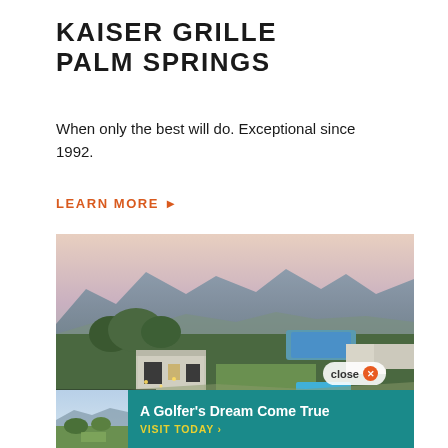KAISER GRILLE PALM SPRINGS
When only the best will do. Exceptional since 1992.
LEARN MORE ▶
[Figure (photo): Aerial view of Kaiser Grille Palm Springs resort showing modern buildings, pool area, tennis courts, palm trees, and mountain backdrop at dusk]
[Figure (photo): Small thumbnail image of golf course landscape within ad overlay]
A Golfer's Dream Come True
VISIT TODAY ›
close ✕